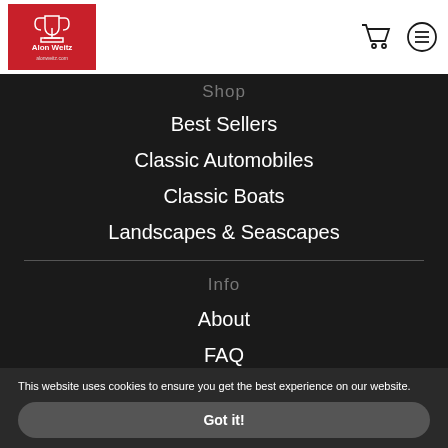[Figure (logo): Alon Weitz logo on red background]
Shop
Best Sellers
Classic Automobiles
Classic Boats
Landscapes & Seascapes
Info
About
FAQ
Contact
This website uses cookies to ensure you get the best experience on our website.
Got it!